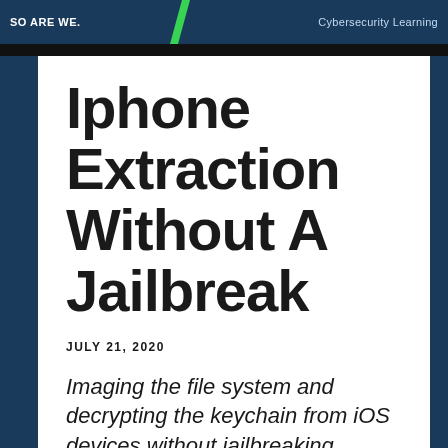SO ARE WE. Cybersecurity Learning
Iphone Extraction Without A Jailbreak
JULY 21, 2020
Imaging the file system and decrypting the keychain from iOS devices without jailbreaking